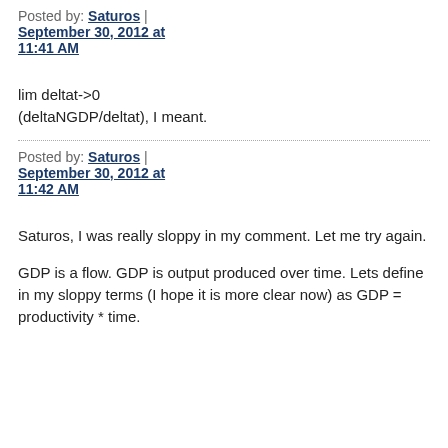Posted by: Saturos | September 30, 2012 at 11:41 AM
lim deltat->0
(deltaNGDP/deltat), I meant.
Posted by: Saturos | September 30, 2012 at 11:42 AM
Saturos, I was really sloppy in my comment. Let me try again.
GDP is a flow. GDP is output produced over time. Lets define in my sloppy terms (I hope it is more clear now) as GDP = productivity * time.